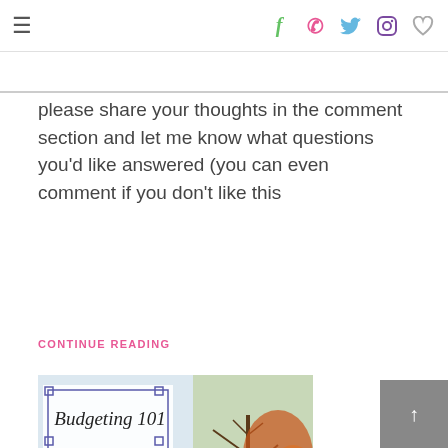≡  f  p  t  ig  ♡
please share your thoughts in the comment section and let me know what questions you'd like answered (you can even comment if you don't like this
CONTINUE READING
[Figure (illustration): Blog post thumbnail image for 'Budgeting 101 - Why Budget?' showing text overlay on a landscape photo with trees and mountains. Top section has 'Budgeting 101' in italic serif font inside a decorative bordered box with corner squares. Lower section shows 'Why Budget?' in large cursive/handwritten font over a nature background.]